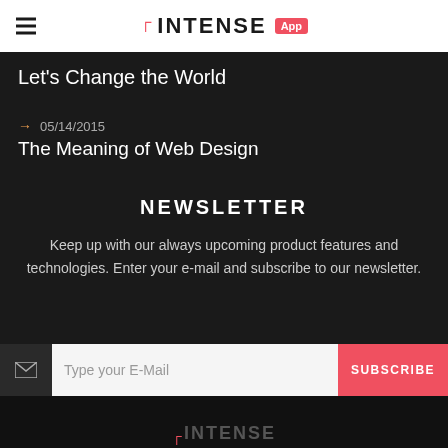INTENSE App
Let's Change the World
→ 05/14/2015
The Meaning of Web Design
NEWSLETTER
Keep up with our always upcoming product features and technologies. Enter your e-mail and subscribe to our newsletter.
Type your E-Mail  SUBSCRIBE
INTENSE